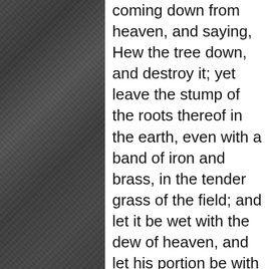[Figure (photo): Dark textured background image on the left side of the page, showing a dark gray woven or fibrous surface texture]
coming down from heaven, and saying, Hew the tree down, and destroy it; yet leave the stump of the roots thereof in the earth, even with a band of iron and brass, in the tender grass of the field; and let it be wet with the dew of heaven, and let his portion be with the beasts of the field, till seven times pass over him;
24 This is the interpretation, O king, and this is the decree of the most High, which is come upon my lord the king:
25 That they shall drive thee from men, and thy dwelling shall be with the beasts of the field, and they shall make thee to eat grass as oxen